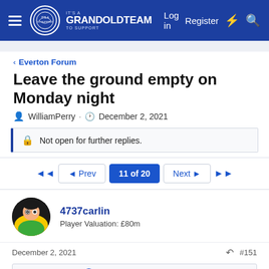GrandOldTeam — Log in  Register
< Everton Forum
Leave the ground empty on Monday night
WilliamPerry · December 2, 2021
Not open for further replies.
◄◄  ◄ Prev  11 of 20  Next ►  ►►
4737carlin
Player Valuation: £80m
December 2, 2021  #151
dannyboy said: ⊕
We usually blag a victory in these type of games tbf and then plod along to lower mid table. I think there's got to be real pressure from the fans to try and break the cycle now. It's gone